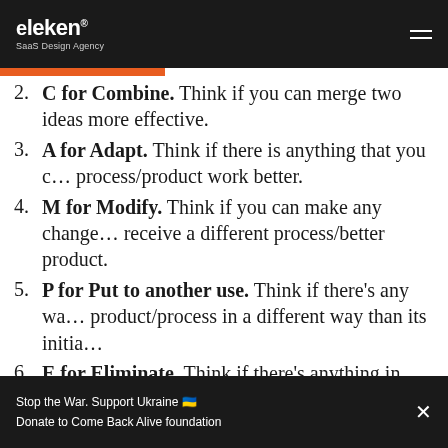eleken SaaS Design Agency
2. C for Combine. Think if you can merge two ideas more effective.
3. A for Adapt. Think if there is anything that you can adapt to make process/product work better.
4. M for Modify. Think if you can make any changes to receive a different process/better product.
5. P for Put to another use. Think if there's any way to use the product/process in a different way than its initial purpose.
6. E for Eliminate. Think if there's anything in the product/process that you can get rid of.
Stop the War. Support Ukraine 🇺🇦 Donate to Come Back Alive foundation